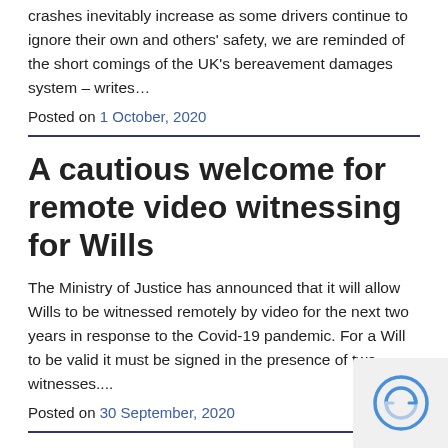crashes inevitably increase as some drivers continue to ignore their own and others' safety, we are reminded of the short comings of the UK's bereavement damages system – writes…
Posted on 1 October, 2020
A cautious welcome for remote video witnessing for Wills
The Ministry of Justice has announced that it will allow Wills to be witnessed remotely by video for the next two years in response to the Covid-19 pandemic. For a Will to be valid it must be signed in the presence of two witnesses....
Posted on 30 September, 2020
Insurer's increasing use of secret surveillance in personal injury cases